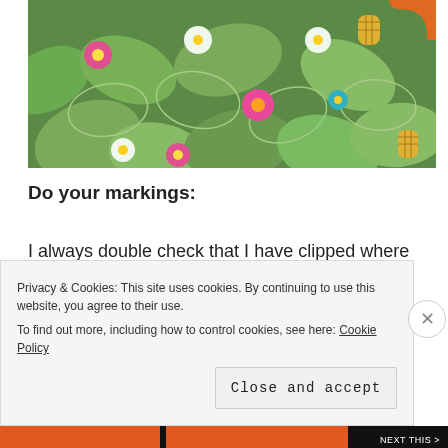[Figure (photo): Close-up photo of a tropical patterned fabric with green monstera leaves, pink and white hibiscus flowers, yellow pineapples, and an orange handle/ring visible in the top right corner.]
Do your markings:
I always double check that I have clipped where I'm supposed to and marked up my dots, darts and any extra
Privacy & Cookies: This site uses cookies. By continuing to use this website, you agree to their use.
To find out more, including how to control cookies, see here: Cookie Policy
Close and accept